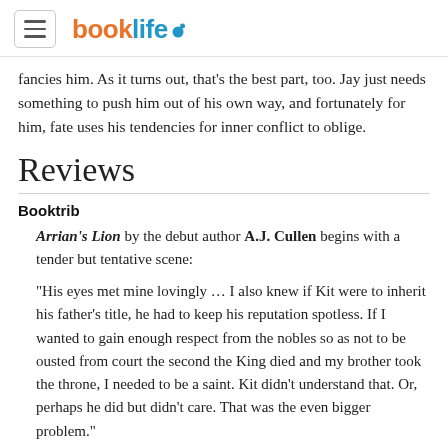booklife
fancies him. As it turns out, that's the best part, too. Jay just needs something to push him out of his own way, and fortunately for him, fate uses his tendencies for inner conflict to oblige.
Reviews
Booktrib
Arrian's Lion by the debut author A.J. Cullen begins with a tender but tentative scene:
“His eyes met mine lovingly … I also knew if Kit were to inherit his father’s title, he had to keep his reputation spotless. If I wanted to gain enough respect from the nobles so as not to be ousted from court the second the King died and my brother took the throne, I needed to be a saint. Kit didn’t understand that. Or, perhaps he did but didn’t care. That was the even bigger problem.”
This narrator, Jay, is Commander of the Arrian King’s Guard, and, in fact, the King’s son. He isn’t, however, the queen’s son, and